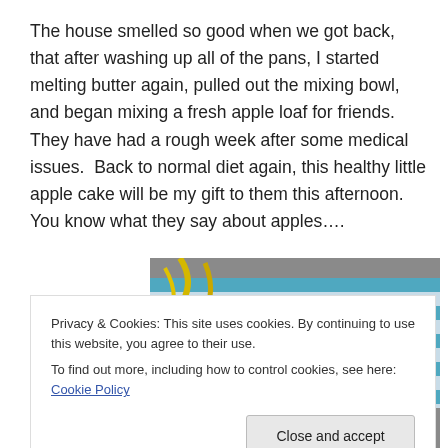The house smelled so good when we got back, that after washing up all of the pans, I started melting butter again, pulled out the mixing bowl, and began mixing a fresh apple loaf for friends.   They have had a rough week after some medical issues.  Back to normal diet again, this healthy little apple cake will be my gift to them this afternoon.  You know what they say about apples….
[Figure (photo): Photo of a basket with colorful striped fabric (blue and white), with yellow ribbons or plant material visible, on a grey countertop surface. Partially obscured by the cookie consent banner.]
Privacy & Cookies: This site uses cookies. By continuing to use this website, you agree to their use.
To find out more, including how to control cookies, see here: Cookie Policy
[Close and accept]